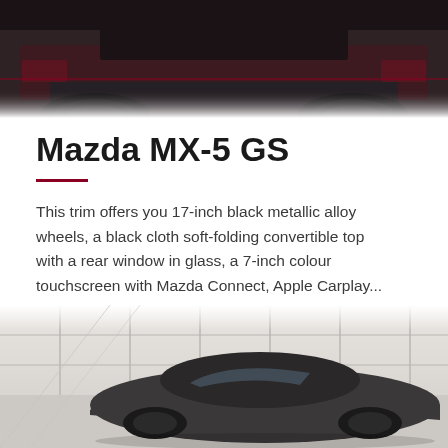[Figure (photo): Dark red/maroon Mazda MX-5 car photographed from rear angle, dark background]
Mazda MX-5 GS
This trim offers you 17-inch black metallic alloy wheels, a black cloth soft-folding convertible top with a rear window in glass, a 7-inch colour touchscreen with Mazda Connect, Apple Carplay...
Read More +
[Figure (photo): Mazda MX-5 convertible car with soft top, photographed in a bright showroom with white paneled walls, grey car visible from rear three-quarter view]